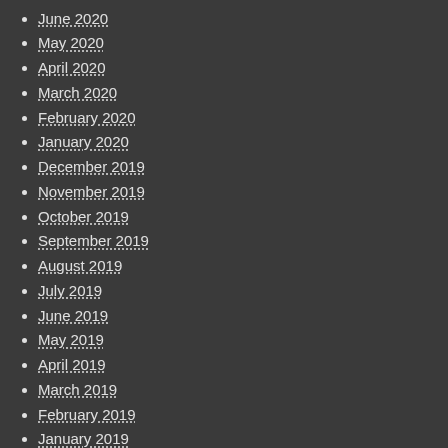June 2020
May 2020
April 2020
March 2020
February 2020
January 2020
December 2019
November 2019
October 2019
September 2019
August 2019
July 2019
June 2019
May 2019
April 2019
March 2019
February 2019
January 2019
December 2018
November 2018
October 2018
September 2018
August 2018